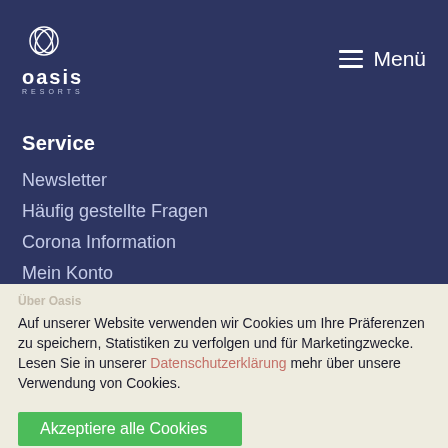[Figure (logo): Oasis Resorts logo with stylized leaf/circle icon and text 'oasis RESORTS' in white on dark navy background]
Menü
Service
Newsletter
Häufig gestellte Fragen
Corona Information
Mein Konto
Auf unserer Website verwenden wir Cookies um Ihre Präferenzen zu speichern, Statistiken zu verfolgen und für Marketingzwecke. Lesen Sie in unserer Datenschutzerklärung mehr über unsere Verwendung von Cookies.
Akzeptiere alle Cookies
Oasis Resorts